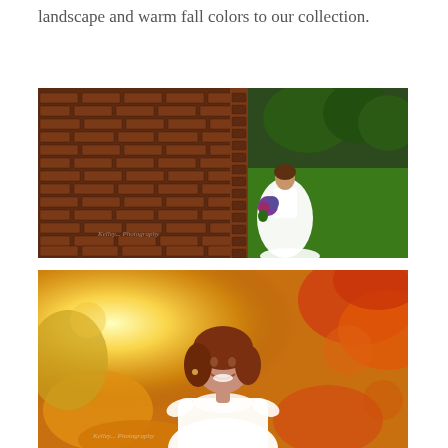landscape and warm fall colors to our collection.
[Figure (photo): Bride in white wedding dress holding a purple flower bouquet, standing beside a long red brick wall with green grass and trees in the background.]
[Figure (photo): Close-up portrait of a smiling bride in a white lace dress surrounded by vivid orange and yellow autumn foliage with a bright sunflare in the upper left.]